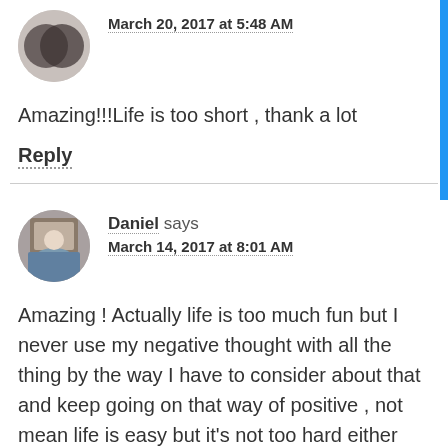March 20, 2017 at 5:48 AM
Amazing!!!Life is too short , thank a lot
Reply
Daniel says
March 14, 2017 at 8:01 AM
Amazing ! Actually life is too much fun but I never use my negative thought with all the thing by the way I have to consider about that and keep going on that way of positive , not mean life is easy but it's not too hard either base on our